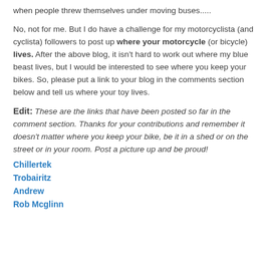when people threw themselves under moving buses.....
No, not for me. But I do have a challenge for my motorcyclista (and cyclista) followers to post up where your motorcycle (or bicycle) lives. After the above blog, it isn't hard to work out where my blue beast lives, but I would be interested to see where you keep your bikes. So, please put a link to your blog in the comments section below and tell us where your toy lives.
Edit: These are the links that have been posted so far in the comment section. Thanks for your contributions and remember it doesn't matter where you keep your bike, be it in a shed or on the street or in your room. Post a picture up and be proud!
Chillertek
Trobairitz
Andrew
Rob Mcglinn